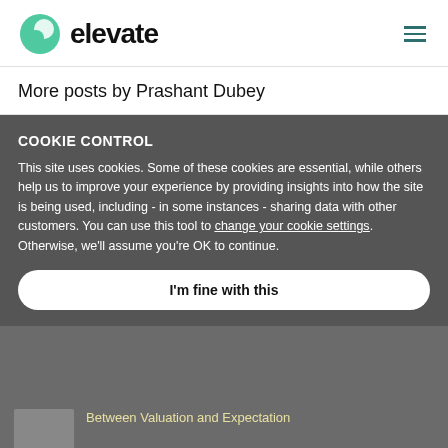[Figure (logo): Elevate logo with green circular icon and 'elevate' text in bold black]
More posts by Prashant Dubey
[Figure (photo): Article thumbnail image]
Business Rationale Mapping (BRM): Maximising the Value of Contracts
COOKIE CONTROL
This site uses cookies. Some of these cookies are essential, while others help us to improve your experience by providing insights into how the site is being used, including - in some instances - sharing data with other customers. You can use this tool to change your cookie settings. Otherwise, we'll assume you're OK to continue.
I'm fine with this
[Figure (photo): Article thumbnail image for valuation article]
Between Valuation and Expectation
[Figure (photo): Article thumbnail photo of Steve Harmon]
The Generalist Counsel: My Conversation with Steve Harmon, GC and COO
More details